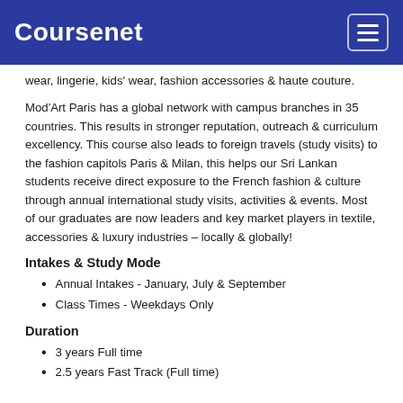Coursenet
wear, lingerie, kids' wear, fashion accessories & haute couture.
Mod'Art Paris has a global network with campus branches in 35 countries. This results in stronger reputation, outreach & curriculum excellency. This course also leads to foreign travels (study visits) to the fashion capitols Paris & Milan, this helps our Sri Lankan students receive direct exposure to the French fashion & culture through annual international study visits, activities & events. Most of our graduates are now leaders and key market players in textile, accessories & luxury industries – locally & globally!
Intakes & Study Mode
Annual Intakes - January, July & September
Class Times - Weekdays Only
Duration
3 years Full time
2.5 years Fast Track (Full time)